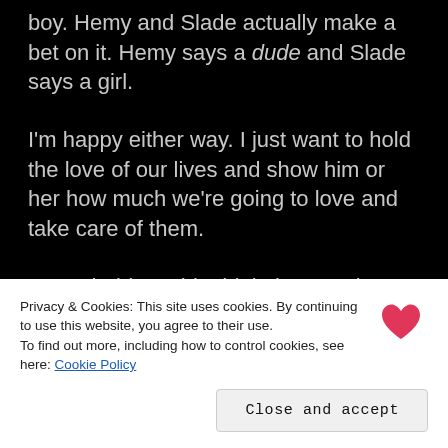boy. Hemy and Slade actually make a bet on it. Hemy says a dude and Slade says a girl.
I'm happy either way. I just want to hold the love of our lives and show him or her how much we're going to love and take care of them.
Hemy holds up his drink, interrupting everyone. “You should all know that if it’s a dude that he’s going to take after uncle, Hemy. You should be so lucky.”
All three of the girl’s eyes go wide, before Onyx and Sage
Privacy & Cookies: This site uses cookies. By continuing to use this website, you agree to their use.
To find out more, including how to control cookies, see here: Cookie Policy